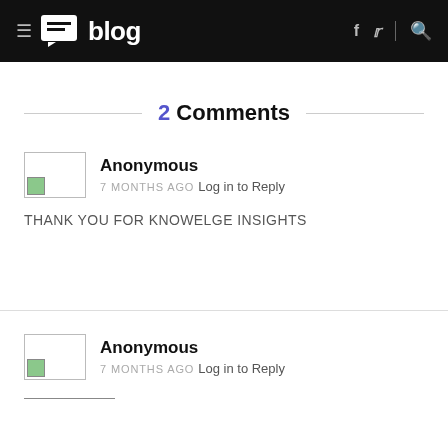≡ blog  f  𝕥  |  🔍
2 Comments
Anonymous
7 MONTHS AGO  Log in to Reply
THANK YOU FOR KNOWELGE INSIGHTS
Anonymous
7 MONTHS AGO  Log in to Reply
(continues below)